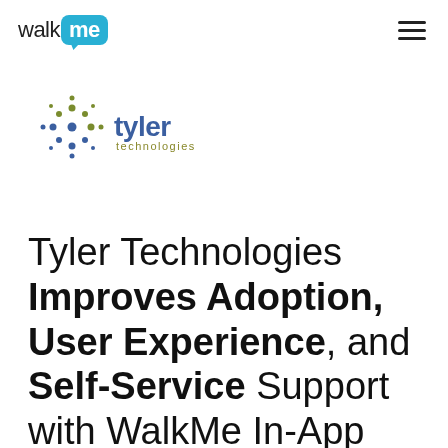walkme [logo] | hamburger menu
[Figure (logo): Tyler Technologies logo with stylized cross/star icon made of blue and olive/green dots, 'tyler' in blue sans-serif, 'technologies' in olive/khaki below]
Tyler Technologies Improves Adoption, User Experience, and Self-Service Support with WalkMe In-App